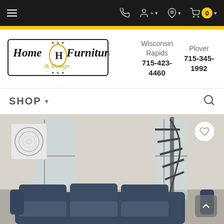Home Furniture & Design — navigation bar with hamburger menu, phone icon, account icon, location icon, cart with 0 items
[Figure (logo): Home Furniture & Design logo — decorative script with H in oval medallion, gold and black styling]
Wisconsin Rapids
715-423-4460
Plover
715-345-1992
SHOP ▾
[Figure (photo): Interior room scene with dark navy blue sofa, large abstract swirl artwork on wall, tall windows, and spiral staircase in background]